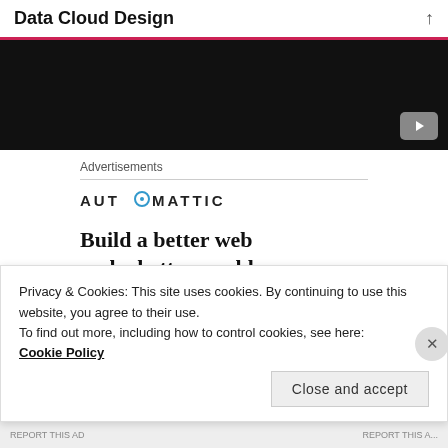Data Cloud Design
[Figure (screenshot): Dark video thumbnail area with YouTube play button icon in bottom-right corner]
Advertisements
[Figure (logo): AUTOMATTIC logo in uppercase with a circular target-style O character]
Build a better web and a better world.
Privacy & Cookies: This site uses cookies. By continuing to use this website, you agree to their use.
To find out more, including how to control cookies, see here:
Cookie Policy
Close and accept